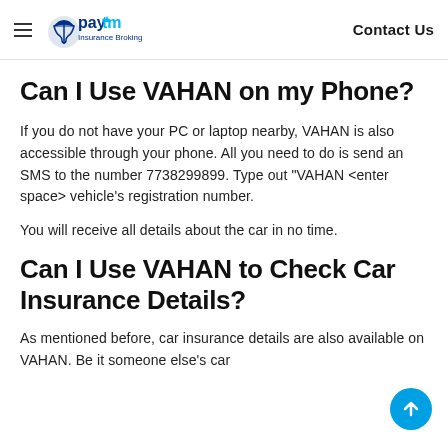Paytm Insurance Broking | Contact Us
Can I Use VAHAN on my Phone?
If you do not have your PC or laptop nearby, VAHAN is also accessible through your phone. All you need to do is send an SMS to the number 7738299899. Type out "VAHAN <enter space> vehicle's registration number.
You will receive all details about the car in no time.
Can I Use VAHAN to Check Car Insurance Details?
As mentioned before, car insurance details are also available on VAHAN. Be it someone else's car